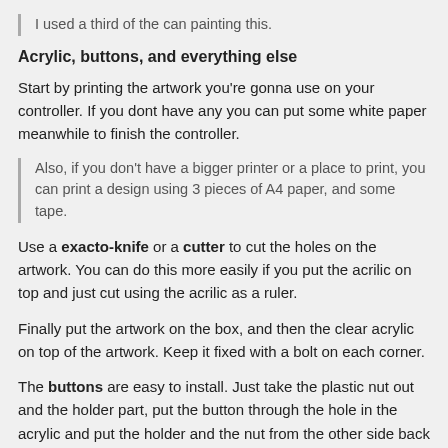I used a third of the can painting this.
Acrylic, buttons, and everything else
Start by printing the artwork you're gonna use on your controller. If you dont have any you can put some white paper meanwhile to finish the controller.
Also, if you don't have a bigger printer or a place to print, you can print a design using 3 pieces of A4 paper, and some tape.
Use a exacto-knife or a cutter to cut the holes on the artwork. You can do this more easily if you put the acrilic on top and just cut using the acrilic as a ruler.
Finally put the artwork on the box, and then the clear acrylic on top of the artwork. Keep it fixed with a bolt on each corner.
The buttons are easy to install. Just take the plastic nut out and the holder part, put the button through the hole in the acrylic and put the holder and the nut from the other side back again. If you made the holes on the box 2 or 3 mm bigger on each side the plastic button